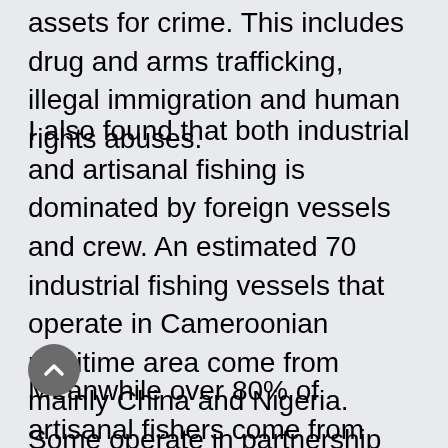assets for crime. This includes drug and arms trafficking, illegal immigration and human rights abuses.
I also found that both industrial and artisanal fishing is dominated by foreign vessels and crew. An estimated 70 industrial fishing vessels that operate in Cameroonian maritime area come from mainly China and Nigeria. Some operate in partnership with Cameroonian entrepreneurs though details of such alliances are murky.
Meanwhile over 80% of artisanal fishers come from Nigeria, Ghana, Benin and